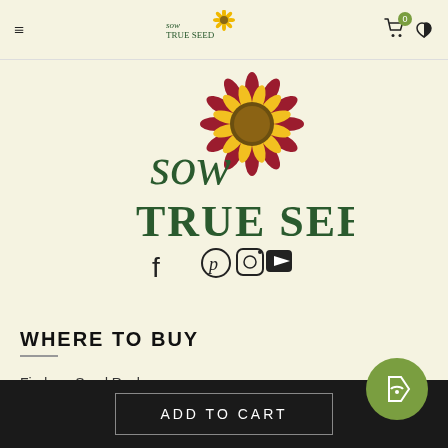Sow True Seed - navigation header with hamburger menu, logo, cart (0), and wishlist icons
[Figure (logo): Sow True Seed large logo with sunflower graphic above the text 'Sow True Seed' in dark green, followed by Facebook, Pinterest, Instagram, and YouTube social media icons]
WHERE TO BUY
Find our Seed Racks
Wholesale Program
Custom Seed Packets
ADD TO CART